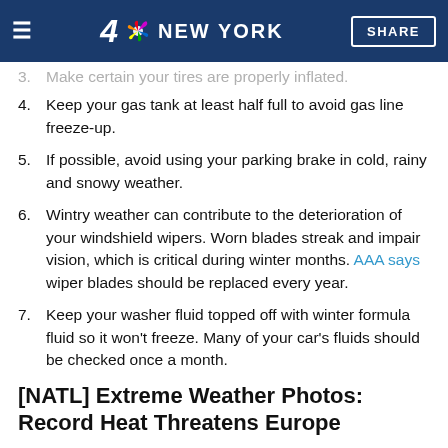4 NBC NEW YORK  SHARE
3. Make certain your tires are properly inflated.
4. Keep your gas tank at least half full to avoid gas line freeze-up.
5. If possible, avoid using your parking brake in cold, rainy and snowy weather.
6. Wintry weather can contribute to the deterioration of your windshield wipers. Worn blades streak and impair vision, which is critical during winter months. AAA says wiper blades should be replaced every year.
7. Keep your washer fluid topped off with winter formula fluid so it won't freeze. Many of your car's fluids should be checked once a month.
[NATL] Extreme Weather Photos: Record Heat Threatens Europe